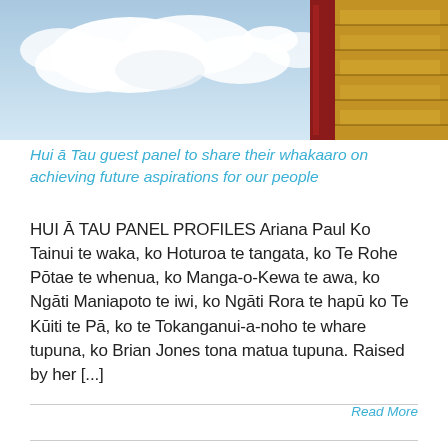[Figure (photo): Photograph showing blue sky with white clouds and a corner of a decorated building with red and gold patterned roof/eaves visible at right side.]
Hui ā Tau guest panel to share their whakaaro on achieving future aspirations for our people
HUI Ā TAU PANEL PROFILES Ariana Paul Ko Tainui te waka, ko Hoturoa te tangata, ko Te Rohe Pōtae te whenua, ko Manga-o-Kewa te awa, ko Ngāti Maniapoto te iwi, ko Ngāti Rora te hapū ko Te Kūiti te Pā, ko te Tokanganui-a-noho te whare tupuna, ko Brian Jones tona matua tupuna. Raised by her [...]
Read More